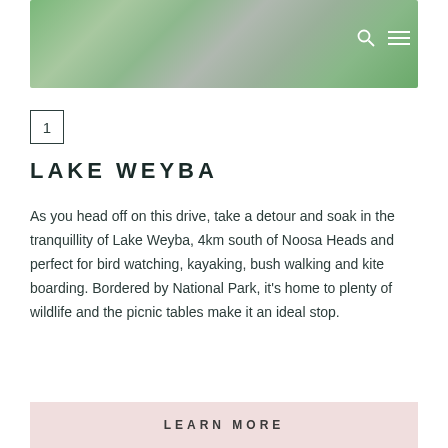[Figure (photo): Hero image with green nature/lake scene, blurred background with search and menu icons in top right]
1
LAKE WEYBA
As you head off on this drive, take a detour and soak in the tranquillity of Lake Weyba, 4km south of Noosa Heads and perfect for bird watching, kayaking, bush walking and kite boarding. Bordered by National Park, it's home to plenty of wildlife and the picnic tables make it an ideal stop.
LEARN MORE